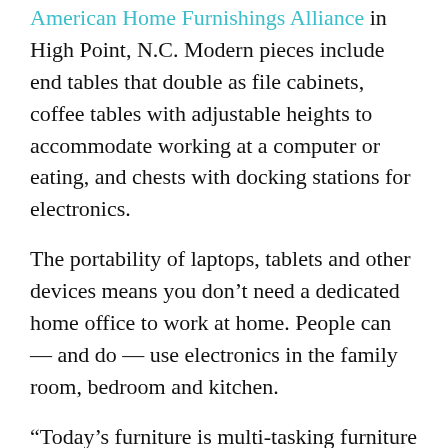American Home Furnishings Alliance in High Point, N.C. Modern pieces include end tables that double as file cabinets, coffee tables with adjustable heights to accommodate working at a computer or eating, and chests with docking stations for electronics.
The portability of laptops, tablets and other devices means you don’t need a dedicated home office to work at home. People can — and do — use electronics in the family room, bedroom and kitchen.
“Today’s furniture is multi-tasking furniture that can help you stay organized, stay connected and keep clutter at bay,” said Kim Shaver of Hooker Furniture in Martinsville, Va. “In versatile styles and silhouettes, these pieces fit in any room — from the kitchen to the bedroom and from the family room to the entry hall or foyer — and provide multiple functions in each room.”